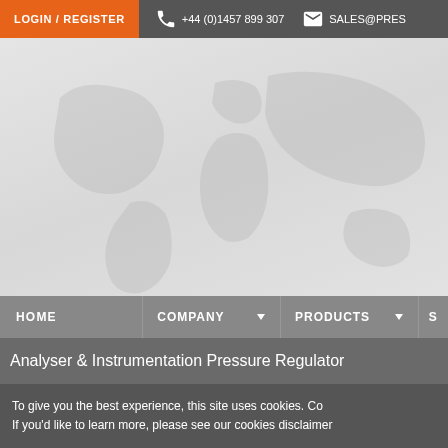LOGIN / REGISTER | +44 (0)1457 899 307 | SALES@PRES...
[Figure (illustration): World map background image in light grey tones used as hero banner]
HOME | COMPANY ▼ | PRODUCTS ▼ | S...
Analyser & Instrumentation Pressure Regulator
[Figure (photo): Blue and silver pressure regulator instrument product photo]
To give you the best experience, this site uses cookies. Co...